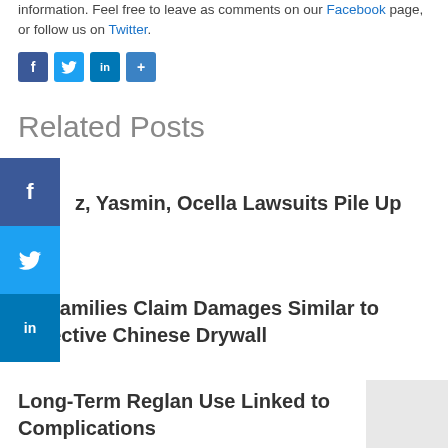information. Feel free to leave as comments on our Facebook page, or follow us on Twitter.
[Figure (other): Social share icons row: Facebook (f), Twitter (bird), LinkedIn (in), Share (+) buttons]
Related Posts
[Figure (other): Left side social sharing bar with Facebook, Twitter, and LinkedIn vertical buttons]
z, Yasmin, Ocella Lawsuits Pile Up
FL Families Claim Damages Similar to Defective Chinese Drywall
Long-Term Reglan Use Linked to Complications